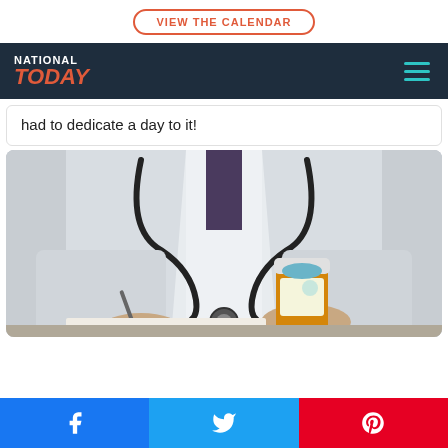VIEW THE CALENDAR
NATIONAL TODAY
had to dedicate a day to it!
[Figure (photo): Doctor in white coat with stethoscope holding a prescription pill bottle and writing with a pen]
Facebook share | Twitter share | Pinterest share